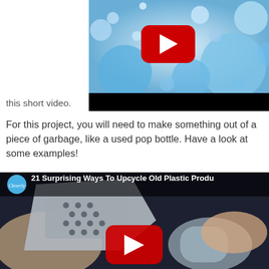[Figure (screenshot): YouTube video thumbnail showing blue bubbles background with YouTube play button, and black bar at bottom]
this short video.
For this project, you will need to make something out of a piece of garbage, like a used pop bottle.  Have a look at some examples!
[Figure (screenshot): YouTube video thumbnail from Cleverly channel titled '21 Surprising Ways To Upcycle Old Plastic Produ...' showing hands holding a plastic bottle next to a clothes iron, with YouTube play button overlay]